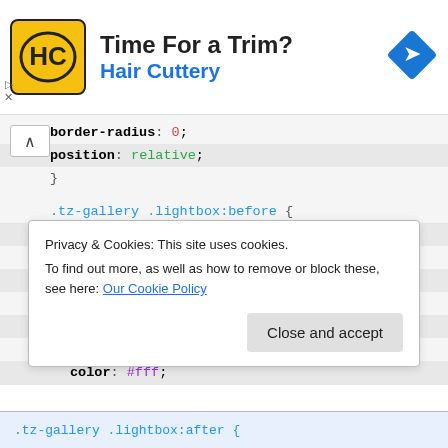[Figure (infographic): Advertisement banner for Hair Cuttery with yellow logo, title 'Time For a Trim?' and blue subtitle 'Hair Cuttery', plus a blue navigation diamond icon on the right]
border-radius: 0;
position: relative;
}

.tz-gallery .lightbox:before {
    position: absolute;
    top: 50%;
    left: 50%;
    margin-top: -13px;
    margin-left: -13px;
    opacity: 0;
    color: #fff;
    font-size: 26px;
    font-family: 'Glyphicons Halflings';
Privacy & Cookies: This site uses cookies.
To find out more, as well as how to remove or block these, see here: Our Cookie Policy
Close and accept
.tz-gallery .lightbox:after {